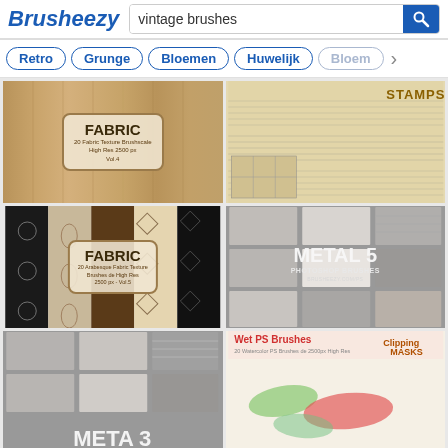[Figure (screenshot): Brusheezy website header with logo and search bar showing 'vintage brushes']
[Figure (screenshot): Navigation tabs: Retro, Grunge, Bloemen, Huwelijk, Bloem with right arrow]
[Figure (photo): Fabric texture brushes pack - FABRIC Vol.4, 20 Fabric Texture Brushes, High Res 2500px]
[Figure (photo): Vintage music sheet stamps brushes pack - STAMPS]
[Figure (photo): Arabesque Fabric Texture Brushes - FABRIC Vol.5, 20 Arabesque Fabric Texture Brushes, High Res 2500px]
[Figure (photo): Metal 5 Photoshop Brushes - grid of metal texture samples]
[Figure (photo): Metal 3 Photoshop Brushes - grid of metal texture samples]
[Figure (photo): Wet PS Brushes with Clipping Masks - colorful watercolor brush strokes]